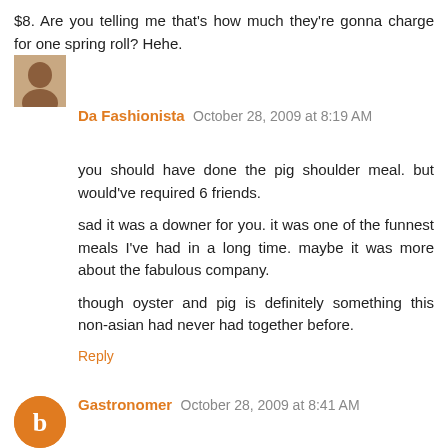$8. Are you telling me that's how much they're gonna charge for one spring roll? Hehe.
Reply
Da Fashionista  October 28, 2009 at 8:19 AM
you should have done the pig shoulder meal. but would've required 6 friends.
sad it was a downer for you. it was one of the funnest meals I've had in a long time. maybe it was more about the fabulous company.
though oyster and pig is definitely something this non-asian had never had together before.
Reply
Gastronomer  October 28, 2009 at 8:41 AM
Great post, Rivers. I like it when you're opinionated and totally right on the money!